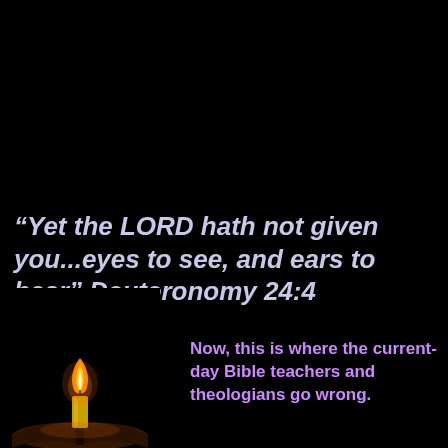“Yet the LORD hath not given you…eyes to see, and ears to hear” Deuteronomy 24:4
[Figure (illustration): A lit candle flame glowing orange and yellow above a candle, placed on top of an open Bible, all set against a very dark/black background.]
Now, this is where the current-day Bible teachers and theologians go wrong.